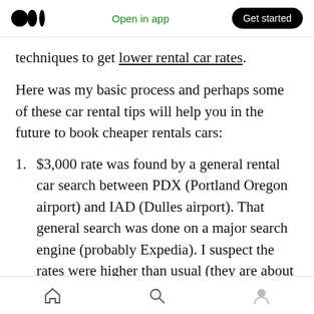Medium app header with logo, 'Open in app', and 'Get started' button
techniques to get lower rental car rates.
Here was my basic process and perhaps some of these car rental tips will help you in the future to book cheaper rentals cars:
$3,000 rate was found by a general rental car search between PDX (Portland Oregon airport) and IAD (Dulles airport). That general search was done on a major search engine (probably Expedia). I suspect the rates were higher than usual (they are about $1,200 right now) because of the forest fires
Bottom navigation bar with home, search, and profile icons